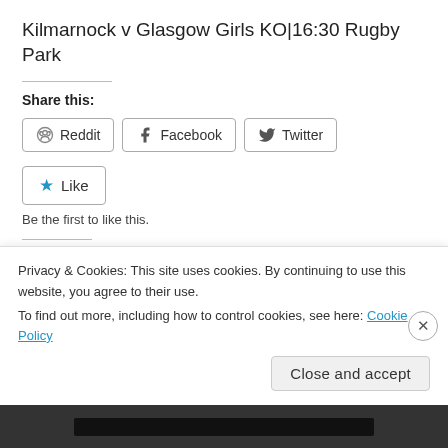Kilmarnock v Glasgow Girls KO|16:30 Rugby Park
Share this:
[Figure (other): Social share buttons: Reddit, Facebook, Twitter]
[Figure (other): Like button with star icon]
Be the first to like this.
Related
SWPL: Motherwell 0-4 Hibernian
The Big Scottish Cup Semi Final
Privacy & Cookies: This site uses cookies. By continuing to use this website, you agree to their use.
To find out more, including how to control cookies, see here: Cookie Policy
Close and accept